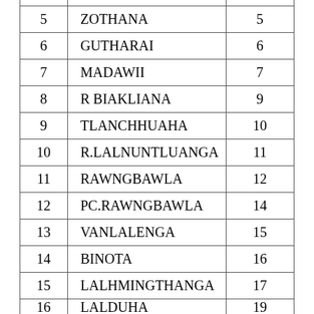| No. | Name | Page |
| --- | --- | --- |
| 5 | ZOTHANA | 5 |
| 6 | GUTHARAI | 6 |
| 7 | MADAWII | 7 |
| 8 | R BIAKLIANA | 9 |
| 9 | TLANCHHUAHA | 10 |
| 10 | R.LALNUNTLUANGA | 11 |
| 11 | RAWNGBAWLA | 12 |
| 12 | PC.RAWNGBAWLA | 14 |
| 13 | VANLALENGA | 15 |
| 14 | BINOTA | 16 |
| 15 | LALHMINGTHANGA | 17 |
| 16 | LALDUHA | 19 |